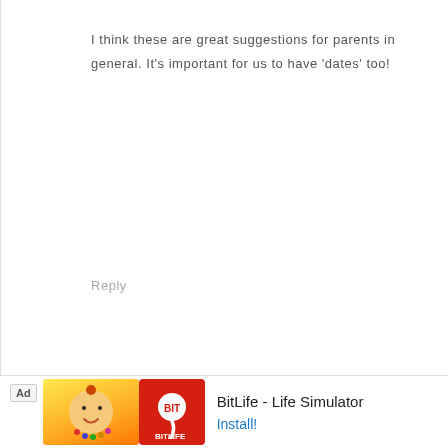I think these are great suggestions for parents in general. It's important for us to have 'dates' too!
Reply
TANYA @ MOM'S SMALL VICTORIES says
FEBRUARY 11, 2014 AT 5:24 PM
[Figure (other): Advertisement banner for BitLife - Life Simulator app with colorful game icon and Install button]